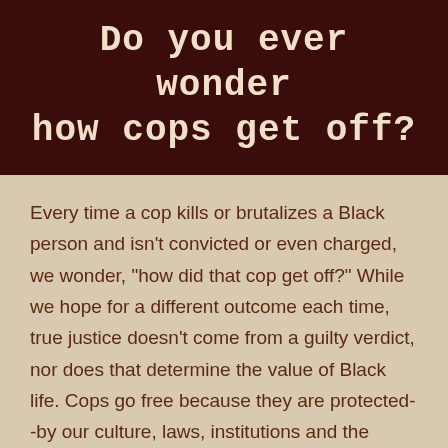Do you ever wonder how cops get off?
Every time a cop kills or brutalizes a Black person and isn't convicted or even charged, we wonder, "how did that cop get off?" While we hope for a different outcome each time, true justice doesn't come from a guilty verdict, nor does that determine the value of Black life. Cops go free because they are protected--by our culture, laws, institutions and the people who run them.
Keeping our communities safe requires more than police or policing. For our communities to thrive, we must redefine what safety means. We must work